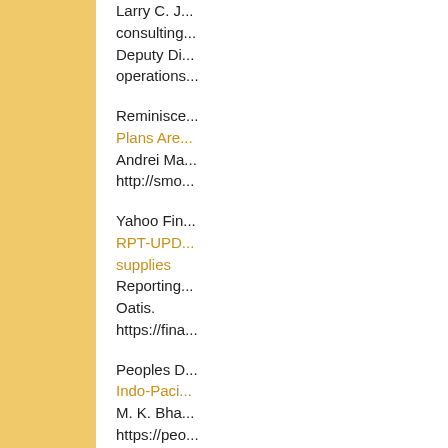Larry C. J... consulting... Deputy Di... operations...
Reminisce... Plans Are... Andrei Ma... http://smo...
Yahoo Fin... RPT-UPD... supplies... Reporting... Oatis. https://fina...
Peoples D... Indo-Paci... M. K. Bha... https://peo...
CaitlinJoh... Kayfabe P... Caitlin. Joh...